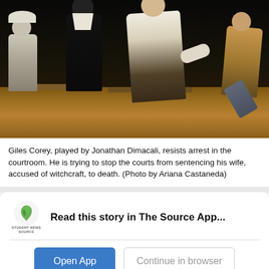[Figure (photo): Theater stage performance showing actors in period costume. Giles Corey resisting arrest in a courtroom scene, with actors wearing masks, one in black with white collar, a large figure in white shirt, and others on a warm-lit wooden stage floor.]
Giles Corey, played by Jonathan Dimacali, resists arrest in the courtroom. He is trying to stop the courts from sentencing his wife, accused of witchcraft, to death. (Photo by Ariana Castaneda)
Read this story in The Source App...
Open App   Continue in browser